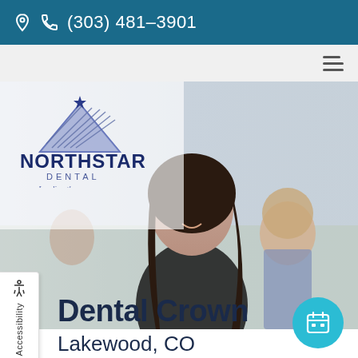(303) 481-3901
[Figure (logo): Northstar Dental logo with mountain and star graphic, text reads NORTHSTAR DENTAL Leading the way]
[Figure (photo): Background hero photo of smiling young woman and people outdoors, semi-transparent overlay]
Dental Crown
Lakewood, CO
Accessibility